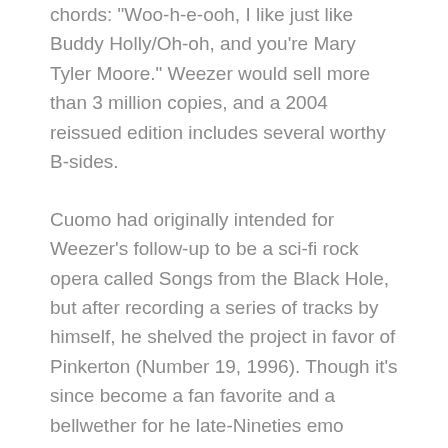chords: "Woo-h-e-ooh, I like just like Buddy Holly/Oh-oh, and you're Mary Tyler Moore." Weezer would sell more than 3 million copies, and a 2004 reissued edition includes several worthy B-sides.
Cuomo had originally intended for Weezer's follow-up to be a sci-fi rock opera called Songs from the Black Hole, but after recording a series of tracks by himself, he shelved the project in favor of Pinkerton (Number 19, 1996). Though it's since become a fan favorite and a bellwether for he late-Nineties emo boom, Pinkerton was initially seen as a downer: Cuomo had undergone a painful leg operation after the Blue Album, and the new LP was packed with brutally honest songs about falling in love with lesbians and